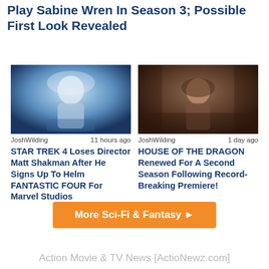Play Sabine Wren In Season 3; Possible First Look Revealed
[Figure (photo): Movie/TV still image showing a person in a blue/light colored scene (Star Trek related)]
JoshWilding    11 hours ago
STAR TREK 4 Loses Director Matt Shakman After He Signs Up To Helm FANTASTIC FOUR For Marvel Studios
[Figure (photo): Movie/TV still image showing a person in a dark, dramatic scene (House of the Dragon related)]
JoshWilding    1 day ago
HOUSE OF THE DRAGON Renewed For A Second Season Following Record-Breaking Premiere!
More Sci-Fi & Fantasy ►
Action Movie & TV News [ActioNewz.com]